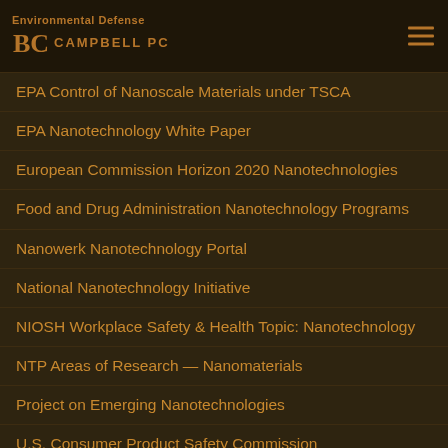Environmental Defense | BELL CAMPBELL PC | EPA Control of Nanoscale Materials under TSCA
EPA Nanotechnology White Paper
European Commission Horizon 2020 Nanotechnologies
Food and Drug Administration Nanotechnology Programs
Nanowerk Nanotechnology Portal
National Nanotechnology Initiative
NIOSH Workplace Safety & Health Topic: Nanotechnology
NTP Areas of Research — Nanomaterials
Project on Emerging Nanotechnologies
U.S. Consumer Product Safety Commission